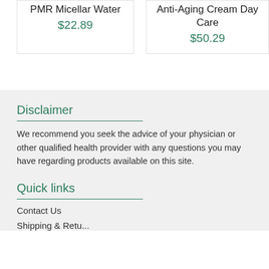PMR Micellar Water
$22.89
Anti-Aging Cream Day Care
$50.29
Disclaimer
We recommend you seek the advice of your physician or other qualified health provider with any questions you may have regarding products available on this site.
Quick links
Contact Us
Shipping & Returns